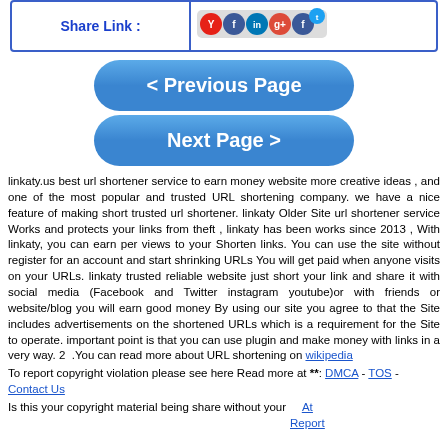| Share Link : | Social Icons |
| --- | --- |
| Share Link : | [social media icons] |
< Previous Page
Next Page >
linkaty.us best url shortener service to earn money website more creative ideas , and one of the most popular and trusted URL shortening company. we have a nice feature of making short trusted url shortener. linkaty Older Site url shortener service Works and protects your links from theft , linkaty has been works since 2013 , With linkaty, you can earn per views to your Shorten links. You can use the site without register for an account and start shrinking URLs You will get paid when anyone visits on your URLs. linkaty trusted reliable website just short your link and share it with social media (Facebook and Twitter instagram youtube)or with friends or website/blog you will earn good money By using our site you agree to that the Site includes advertisements on the shortened URLs which is a requirement for the Site to operate. important point is that you can use plugin and make money with links in a very way. 2 .You can read more about URL shortening on wikipedia
To report copyright violation please see here Read more at **: DMCA - TOS - Contact Us
Is this your copyright material being share without your At Report